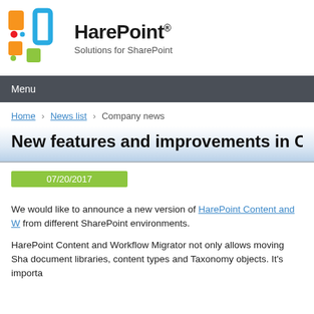[Figure (logo): HarePoint logo with colorful icon and text 'HarePoint® Solutions for SharePoint']
Menu
Home › News list › Company news
New features and improvements in Conte
07/20/2017
We would like to announce a new version of HarePoint Content and W... from different SharePoint environments.
HarePoint Content and Workflow Migrator not only allows moving Sha... document libraries, content types and Taxonomy objects. It's importa...